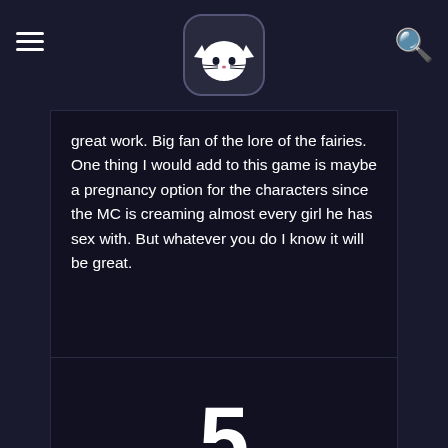great work. Big fan of the lore of the fairies. One thing I would add to this game is maybe a pregnancy option for the characters since the MC is creaming almost every girl he has sex with. But whatever you do I know it will be great.
5
★★★★★
OVERALL SCORE
TAGS  2DCG  Anal Sex  Android  Animated  Big Ass  Big Tits  Creampie  Dating sim  Exhibitionism  Footjob  Groping  Group Sex  Handjob  Harem  Lesbian  Male Protagonist  Masturbation  Milf  Oral sex